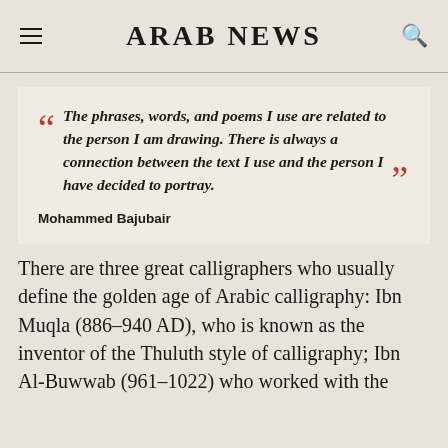ARAB NEWS
The phrases, words, and poems I use are related to the person I am drawing. There is always a connection between the text I use and the person I have decided to portray.

Mohammed Bajubair
There are three great calligraphers who usually define the golden age of Arabic calligraphy: Ibn Muqla (886–940 AD), who is known as the inventor of the Thuluth style of calligraphy; Ibn Al-Buwwab (961–1022) who worked with the